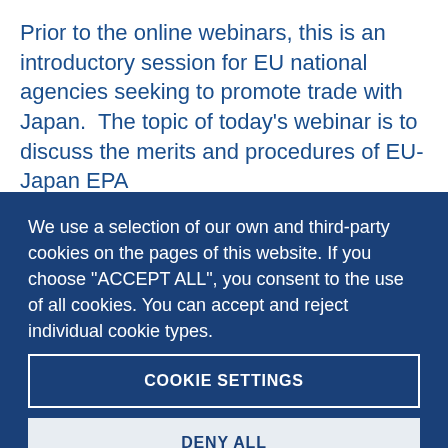Prior to the online webinars, this is an introductory session for EU national agencies seeking to promote trade with Japan.  The topic of today's webinar is to discuss the merits and procedures of EU-Japan EPA
We use a selection of our own and third-party cookies on the pages of this website. If you choose "ACCEPT ALL", you consent to the use of all cookies. You can accept and reject individual cookie types.
COOKIE SETTINGS
DENY ALL
ACCEPT ALL